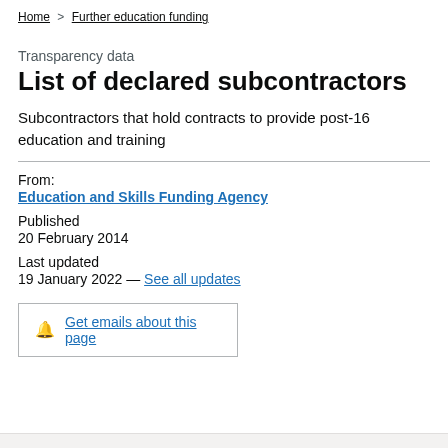Home > Further education funding
Transparency data
List of declared subcontractors
Subcontractors that hold contracts to provide post-16 education and training
From:
Education and Skills Funding Agency
Published
20 February 2014
Last updated
19 January 2022 — See all updates
Get emails about this page